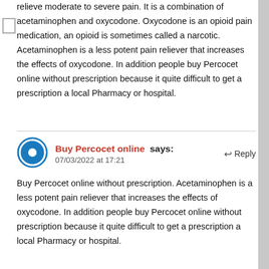relieve moderate to severe pain. It is a combination of acetaminophen and oxycodone. Oxycodone is an opioid pain medication, an opioid is sometimes called a narcotic. Acetaminophen is a less potent pain reliever that increases the effects of oxycodone. In addition people buy Percocet online without prescription because it quite difficult to get a prescription a local Pharmacy or hospital.
Buy Percocet online says: 07/03/2022 at 17:21
Buy Percocet online without prescription. Acetaminophen is a less potent pain reliever that increases the effects of oxycodone. In addition people buy Percocet online without prescription because it quite difficult to get a prescription a local Pharmacy or hospital.